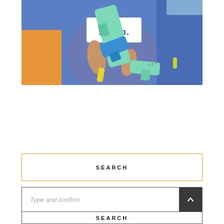[Figure (photo): Child holding water guns/squirt toys, wearing a blue shirt with 'seven.' text, at a party with blue and orange tablecloths in the background]
SEARCH
Type and confirm
SEARCH